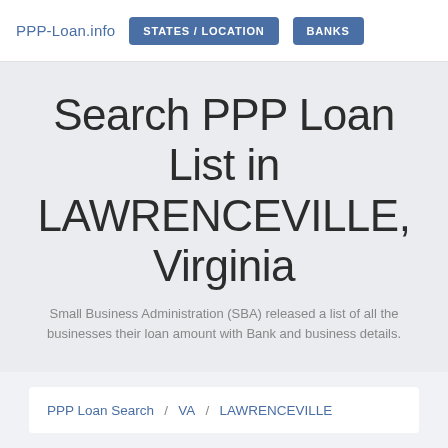PPP-Loan.info  STATES / LOCATION  BANKS
Search PPP Loan List in LAWRENCEVILLE, Virginia
Small Business Administration (SBA) released a list of all the businesses their loan amount with Bank and business details.
PPP Loan Search  /  VA  /  LAWRENCEVILLE